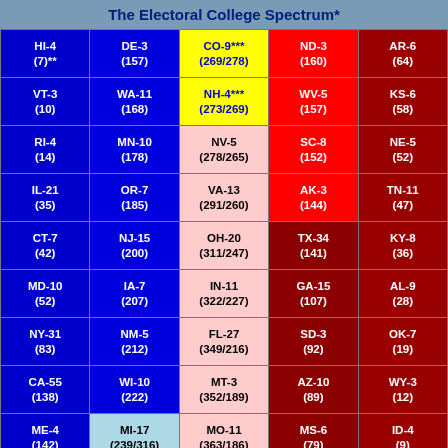The Electoral College Spectrum*
| Col1 | Col2 | Col3 | Col4 | Col5 |
| --- | --- | --- | --- | --- |
| HI-4
(7)** | DE-3
(157) | CO-9***
(269/278) | ND-3
(160) | AR-6
(64) |
| VT-3
(10) | WA-11
(168) | NH-4***
(273/269) | WV-5
(157) | KS-6
(58) |
| RI-4
(14) | MN-10
(178) | NV-5
(278/265) | SC-8
(152) | NE-5
(52) |
| IL-21
(35) | OR-7
(185) | VA-13
(291/260) | AK-3
(144) | TN-11
(47) |
| CT-7
(42) | NJ-15
(200) | OH-20
(311/247) | TX-34
(141) | KY-8
(36) |
| MD-10
(52) | IA-7
(207) | IN-11
(322/227) | GA-15
(107) | AL-9
(28) |
| NY-31
(83) | NM-5
(212) | FL-27
(349/216) | SD-3
(92) | OK-7
(19) |
| CA-55
(138) | WI-10
(222) | MT-3
(352/189) | AZ-10
(89) | WY-3
(12) |
| ME-4
(142) | MI-17
(239/316) | MO-11
(363/186) | MS-6
(79) | ID-4
(9) |